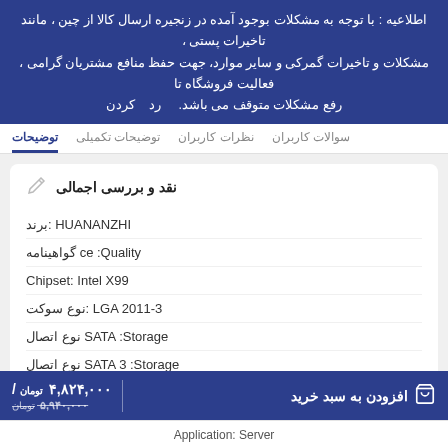اطلاعیه : با توجه به مشکلات بوجود آمده در زنجیره ارسال کالا از چین ، مانند تاخیرات پستی ، مشکلات و تاخیرات گمرکی و سایر موارد، جهت حفظ منافع مشتریان گرامی ، فعالیت فروشگاه تا رفع مشکلات متوقف می باشد.    رد    کردن
توضیحات
توضیحات تکمیلی
نظرات کاربران
سوالات کاربران
نقد و بررسی اجمالی
| ویژگی | مقدار |
| --- | --- |
| برند | HUANANZHI |
| گواهینامه Quality | ce |
| Chipset | Intel X99 |
| نوع سوکت | LGA 2011-3 |
| Storage نوع اتصال | SATA |
| Storage نوع اتصال | SATA 3 |
| Storage نوع اتصال | M.2 (NVMe) |
| Onboard LAN | 1x RJ45 |
افزودن به سبد خرید
تومان ۴,۸۲۴,۰۰۰ / تومان ۵,۹۴۰,۰۰۰
Application: Server